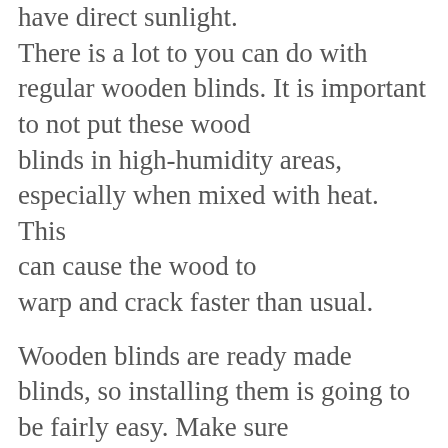have direct sunlight. There is a lot to you can do with regular wooden blinds. It is important to not put these wood blinds in high-humidity areas, especially when mixed with heat. This can cause the wood to warp and crack faster than usual.
Wooden blinds are ready made blinds, so installing them is going to be fairly easy. Make sure you have the right measurements for the area that you are installing them in, and you are going to be setup for an easy installment process. It is going to be a perfect fit first try most times. Wooden blinds are the premier window covering, and they are also in style right now as well. The slats are durable, come in my different colors, and are easy to order.